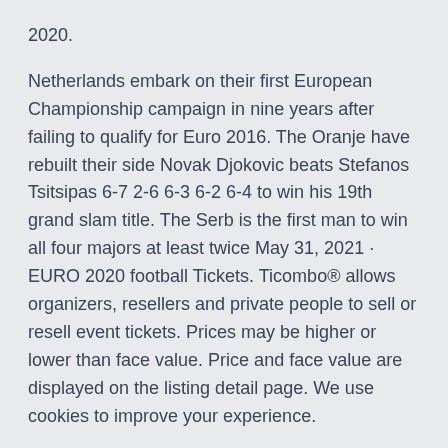2020.
Netherlands embark on their first European Championship campaign in nine years after failing to qualify for Euro 2016. The Oranje have rebuilt their side Novak Djokovic beats Stefanos Tsitsipas 6-7 2-6 6-3 6-2 6-4 to win his 19th grand slam title. The Serb is the first man to win all four majors at least twice May 31, 2021 · EURO 2020 football Tickets. Ticombo® allows organizers, resellers and private people to sell or resell event tickets. Prices may be higher or lower than face value. Price and face value are displayed on the listing detail page. We use cookies to improve your experience.